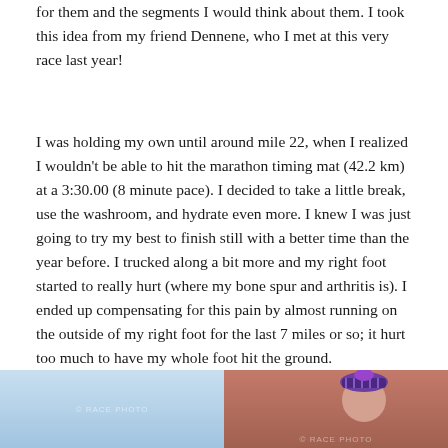for them and the segments I would think about them.  I took this idea from my friend Dennene, who I met at this very race last year!
I was holding my own until around mile 22, when I realized I wouldn't be able to hit the marathon timing mat (42.2 km) at a 3:30.00 (8 minute pace).  I decided to take a little break, use the washroom, and hydrate even more.  I knew I was just going to try my best to finish still with a better time than the year before.  I trucked along a bit more and my right foot started to really hurt (where my bone spur and arthritis is).  I ended up compensating for this pain by almost running on the outside of my right foot for the last 7 miles or so; it hurt too much to have my whole foot hit the ground.
[Figure (photo): Two side-by-side photos at the bottom of the page. Left photo shows a light blue sky background (likely an outdoor race scene). Right photo shows a person wearing a purple/blue striped hat at what appears to be a race event.]